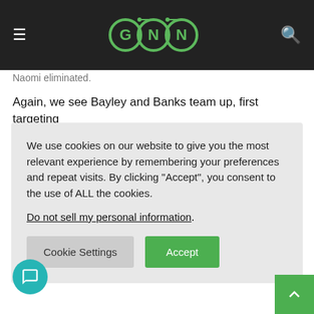[Figure (logo): GNN logo in green on dark header bar with hamburger menu left and search icon right]
Naomi eliminated.
Again, we see Bayley and Banks team up, first targeting
We use cookies on our website to give you the most relevant experience by remembering your preferences and repeat visits. By clicking “Accept”, you consent to the use of ALL the cookies.
Do not sell my personal information.
Cookie Settings  Accept
Naomi eliminated.
Bayley and Banks taunt Evans, who’s still selling getting slammed into the steps. They immediately beat on he as soon as he gets in the ring. Evans escapes the double team by moving out of a Bayley corner charge, and Bayley knees